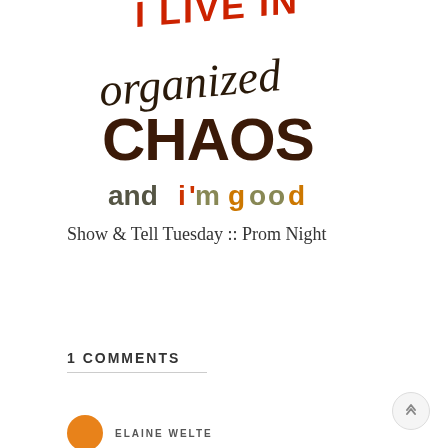[Figure (illustration): Hand-lettered art saying 'I live in organized CHAOS and i'm good' with mixed colors — red capital letters for 'I LIVE IN', dark brown script for 'organized', large bold dark brown letters for 'CHAOS', and mixed colored lowercase letters for 'and i'm good']
Show & Tell Tuesday :: Prom Night
1 COMMENTS
ELAINE WELTE